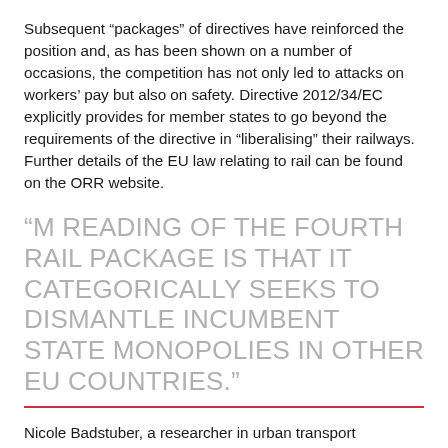Subsequent “packages” of directives have reinforced the position and, as has been shown on a number of occasions, the competition has not only led to attacks on workers’ pay but also on safety. Directive 2012/34/EC explicitly provides for member states to go beyond the requirements of the directive in “liberalising” their railways. Further details of the EU law relating to rail can be found on the ORR website.
“M READING OF THE FOURTH RAIL PACKAGE IS THAT IT CATEGORICALLY SEEKS TO DISMANTLE INCUMBENT STATE MONOPOLIES IN OTHER EU COUNTRIES.”
Nicole Badstuber, a researcher in urban transport governance at the London School of Economics and UCL,